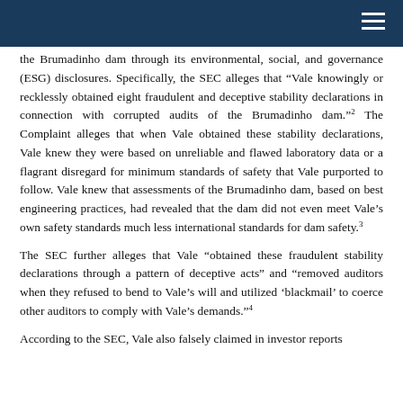the Brumadinho dam through its environmental, social, and governance (ESG) disclosures. Specifically, the SEC alleges that “Vale knowingly or recklessly obtained eight fraudulent and deceptive stability declarations in connection with corrupted audits of the Brumadinho dam.”² The Complaint alleges that when Vale obtained these stability declarations, Vale knew they were based on unreliable and flawed laboratory data or a flagrant disregard for minimum standards of safety that Vale purported to follow. Vale knew that assessments of the Brumadinho dam, based on best engineering practices, had revealed that the dam did not even meet Vale’s own safety standards much less international standards for dam safety.³
The SEC further alleges that Vale “obtained these fraudulent stability declarations through a pattern of deceptive acts” and “removed auditors when they refused to bend to Vale’s will and utilized ‘blackmail’ to coerce other auditors to comply with Vale’s demands.”⁴
According to the SEC, Vale also falsely claimed in investor reports